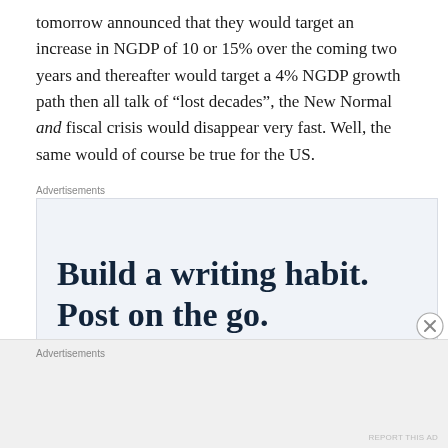tomorrow announced that they would target an increase in NGDP of 10 or 15% over the coming two years and thereafter would target a 4% NGDP growth path then all talk of “lost decades”, the New Normal and fiscal crisis would disappear very fast. Well, the same would of course be true for the US.
[Figure (other): Advertisement banner reading 'Build a writing habit. Post on the go.' in large serif bold type on a light blue-gray background]
[Figure (other): Second advertisements section at bottom of page, gray background area]